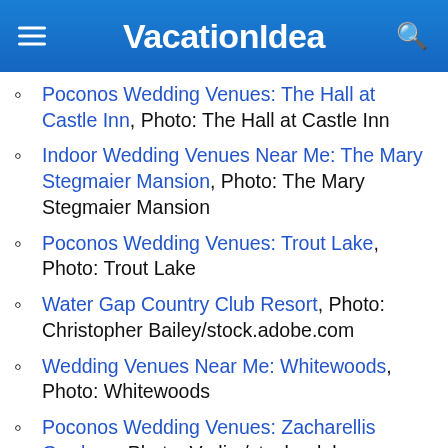VacationIdea
Poconos Wedding Venues: The Hall at Castle Inn, Photo: The Hall at Castle Inn
Indoor Wedding Venues Near Me: The Mary Stegmaier Mansion, Photo: The Mary Stegmaier Mansion
Poconos Wedding Venues: Trout Lake, Photo: Trout Lake
Water Gap Country Club Resort, Photo: Christopher Bailey/stock.adobe.com
Wedding Venues Near Me: Whitewoods, Photo: Whitewoods
Poconos Wedding Venues: Zacharellis Gardens, Photo: Vadim/stock.adobe.com
Indoor Wedding Venues Near Me: Terraview at Stroudsmoor Country Inn, Photo: Amely